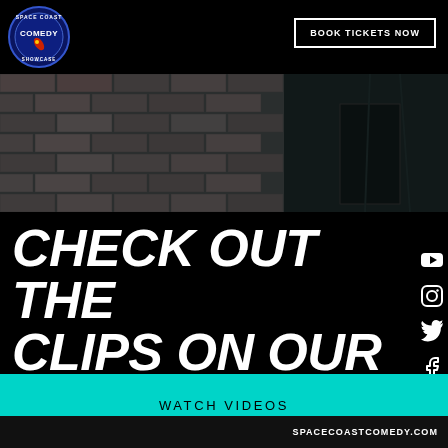[Figure (logo): Space Coast Comedy Showcase circular logo with blue background and rocket/comedy motif]
BOOK TICKETS NOW
[Figure (photo): Black and white photo of a brick wall backstage comedy venue setting with dark door/curtain on right]
CHECK OUT THE CLIPS ON OUR MEDIA PAGE
[Figure (infographic): Social media icons: YouTube, Instagram, Twitter, Facebook]
WATCH VIDEOS
SPACECOASTCOMEDY.COM